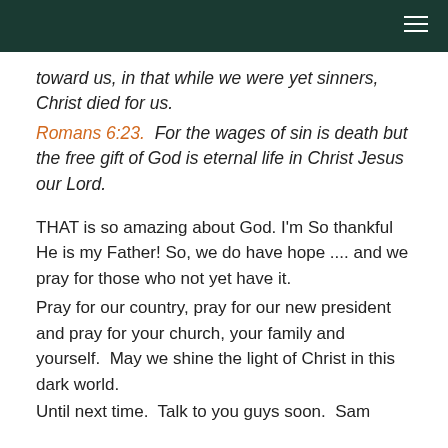toward us, in that while we were yet sinners, Christ died for us.
Romans 6:23.  For the wages of sin is death but the free gift of God is eternal life in Christ Jesus our Lord.
THAT is so amazing about God. I'm So thankful He is my Father! So, we do have hope .... and we pray for those who not yet have it.
Pray for our country, pray for our new president and pray for your church, your family and yourself.  May we shine the light of Christ in this dark world.
Until next time.  Talk to you guys soon.  Sam